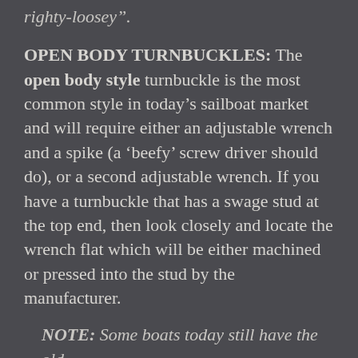righty-loosey”.
OPEN BODY TURNBUCKLES: The open body style turnbuckle is the most common style in today’s sailboat market and will require either an adjustable wrench and a spike (a ‘beefy’ screw driver should do), or a second adjustable wrench. If you have a turnbuckle that has a swage stud at the top end, then look closely and locate the wrench flat which will be either machined or pressed into the stud by the manufacturer.
NOTE: Some boats today still have the old, Closed Body/Tubular Style , stainless steel bottles screw type turnbuckle (these should be replaced ASAP with the newer ones as they lie) T...